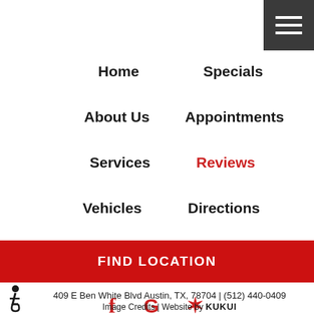[Figure (other): Hamburger menu icon (three white horizontal lines on dark gray background) in top right corner]
Home
Specials
About Us
Appointments
Services
Reviews
Vehicles
Directions
FIND LOCATION
[Figure (other): Social media icons: Facebook (f), Google (G), Yelp (*) in red]
409 E Ben White Blvd Austin, TX, 78704 | (512) 440-0409 Image Credits | Website by KUKUI